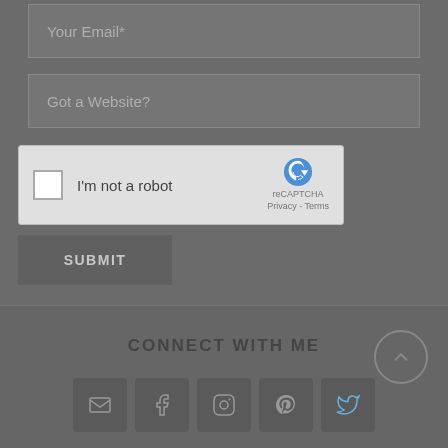Your Email*
Got a Website?
[Figure (other): reCAPTCHA widget with checkbox labeled 'I'm not a robot' and reCAPTCHA logo with Privacy - Terms links]
SUBMIT
CONNECT WITH ME
[Figure (other): Social media icons row: email, facebook, instagram, pinterest, twitter]